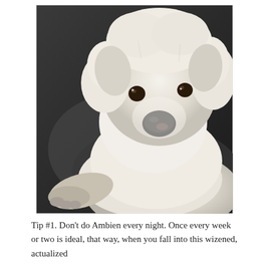[Figure (photo): A white fluffy terrier dog (likely a Miniature Schnauzer mix) sitting on a dark car seat, looking directly at the camera with one paw extended forward.]
Tip #1. Don't do Ambien every night. Once every week or two is ideal, that way, when you fall into this wizened, actualized